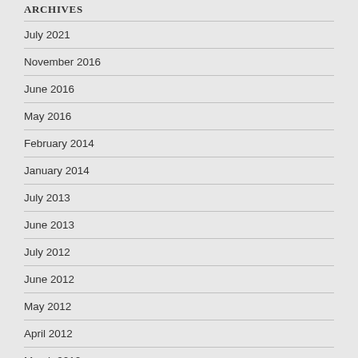ARCHIVES
July 2021
November 2016
June 2016
May 2016
February 2014
January 2014
July 2013
June 2013
July 2012
June 2012
May 2012
April 2012
March 2012
February 2012